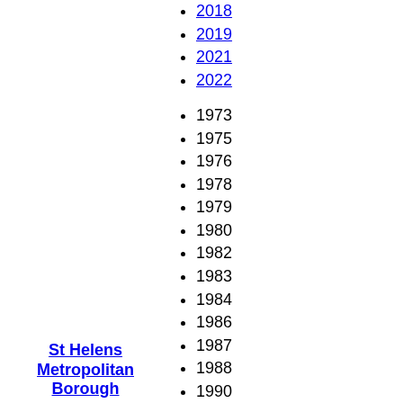2018
2019
2021
2022
1973
1975
1976
1978
1979
1980
1982
1983
1984
1986
1987
1988
1990
1991
1992
1994
1995
1996
1998
1999
St Helens Metropolitan Borough